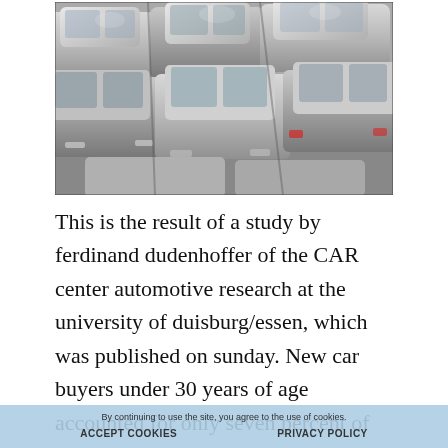[Figure (photo): Aerial/rear view of many silver/white cars parked closely together in a parking lot or car dealership lot.]
This is the result of a study by ferdinand dudenhoffer of the CAR center automotive research at the university of duisburg/essen, which was published on sunday. New car buyers under 30 years of age accounted for only seven percent of the market. Owning a new car is becoming less attractive to young people in germany, says study.